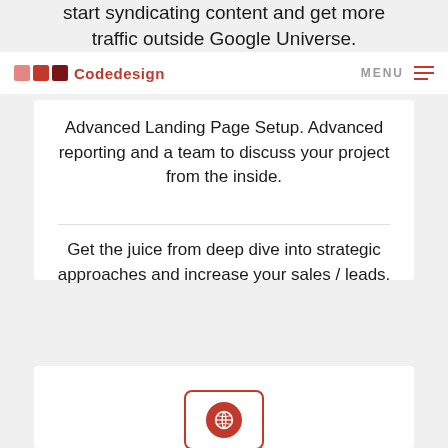start syndicating content and get more traffic outside Google Universe.
Codedesign | MENU
Advanced Landing Page Setup. Advanced reporting and a team to discuss your project from the inside.
Get the juice from deep dive into strategic approaches and increase your sales / leads.
LEARN MORE
[Figure (illustration): Partially visible card with a globe/world icon in a rounded rectangle border, in red color]